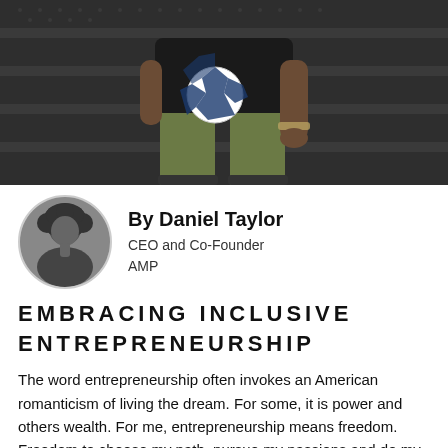[Figure (photo): Man sitting on metal diamond-plate stairs holding a soccer ball, wearing olive green pants and dark shirt with bracelets. Large color photograph, top portion of page.]
By Daniel Taylor
CEO and Co-Founder
AMP
EMBRACING INCLUSIVE ENTREPRENEURSHIP
The word entrepreneurship often invokes an American romanticism of living the dream. For some, it is power and others wealth. For me, entrepreneurship means freedom. Freedom to choose my path, pursue my passions and do my laundry at a convenient time. Even more significantly, it is the freedom to determine the value I will...